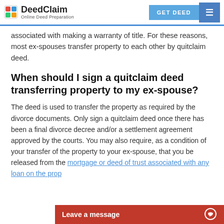DeedClaim — Online Deed Preparation
associated with making a warranty of title. For these reasons, most ex-spouses transfer property to each other by quitclaim deed.
When should I sign a quitclaim deed transferring property to my ex-spouse?
The deed is used to transfer the property as required by the divorce documents. Only sign a quitclaim deed once there has been a final divorce decree and/or a settlement agreement approved by the courts. You may also require, as a condition of your transfer of the property to your ex-spouse, that you be released from the mortgage or deed of trust associated with any loan on the prop…